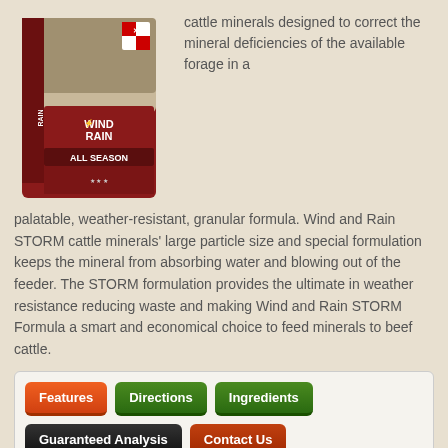[Figure (photo): Purina Wind and Rain All Season cattle mineral product bag with cows in background]
cattle minerals designed to correct the mineral deficiencies of the available forage in a palatable, weather-resistant, granular formula. Wind and Rain STORM cattle minerals' large particle size and special formulation keeps the mineral from absorbing water and blowing out of the feeder. The STORM formulation provides the ultimate in weather resistance reducing waste and making Wind and Rain STORM Formula a smart and economical choice to feed minerals to beef cattle.
[Figure (screenshot): Navigation tabs: Features (orange, active), Directions (green), Ingredients (green), Guaranteed Analysis (dark), Contact Us (red)]